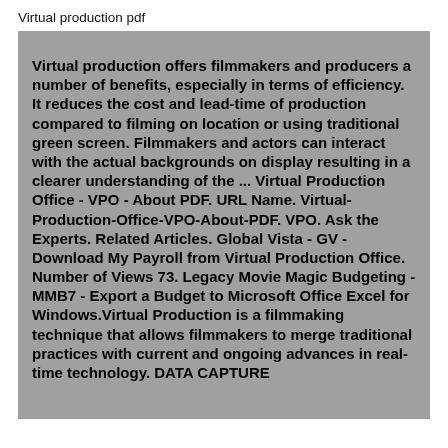Virtual production pdf
Virtual production offers filmmakers and producers a number of benefits, especially in terms of efficiency. It reduces the cost and lead-time of production compared to filming on location or using traditional green screen. Filmmakers and actors can interact with the actual backgrounds on display resulting in a clearer understanding of the ... Virtual Production Office - VPO - About PDF. URL Name. Virtual-Production-Office-VPO-About-PDF. VPO. Ask the Experts. Related Articles. Global Vista - GV - Download My Payroll from Virtual Production Office. Number of Views 73. Legacy Movie Magic Budgeting - MMB7 - Export a Budget to Microsoft Office Excel for Windows.Virtual Production is a filmmaking technique that allows filmmakers to merge traditional practices with current and ongoing advances in real-time technology. DATA CAPTURE